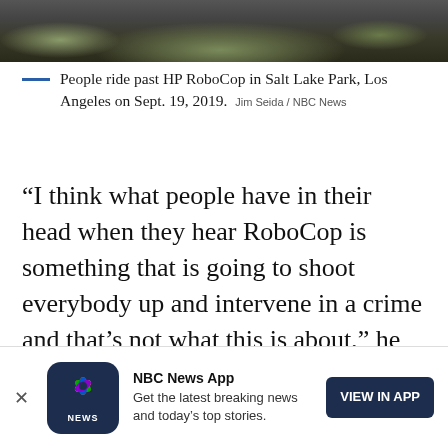[Figure (photo): Top portion of an outdoor photo showing a paved path and grass, likely Salt Lake Park in Los Angeles]
People ride past HP RoboCop in Salt Lake Park, Los Angeles on Sept. 19, 2019.  Jim Seida / NBC News
“I think what people have in their head when they hear RoboCop is something that is going to shoot everybody up and intervene in a crime and that’s not what this is about,” he said.
NBC News App
Get the latest breaking news and today’s top stories.
VIEW IN APP